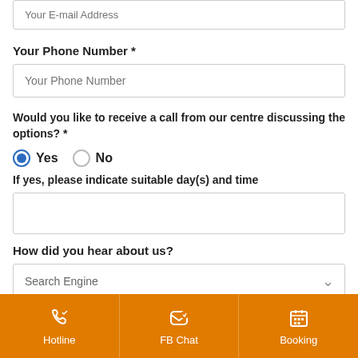Your E-mail Address
Your Phone Number *
Your Phone Number
Would you like to receive a call from our centre discussing the options? *
Yes
No
If yes, please indicate suitable day(s) and time
How did you hear about us?
Search Engine
Comments/Questions
Hotline | FB Chat | Booking